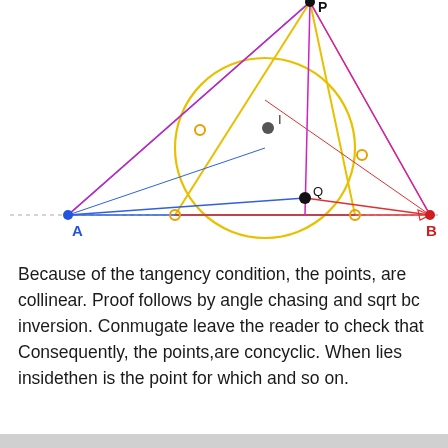[Figure (engineering-diagram): Geometry diagram showing a triangle with vertices A (bottom-left, blue), B (bottom-right, red), and P (top, black). Inside the triangle is an incircle (yellow circle). Points Q and I are marked inside. Various lines connect the points in blue, red, magenta/pink, and yellow colors. A horizontal dashed line passes through A and B. Small colored circles mark tangent and intersection points.]
Because of the tangency condition, the points, are collinear. Proof follows by angle chasing and sqrt bc inversion. Conmugate leave the reader to check that Consequently, the points,are concyclic. When lies insidethen is the point for which and so on.